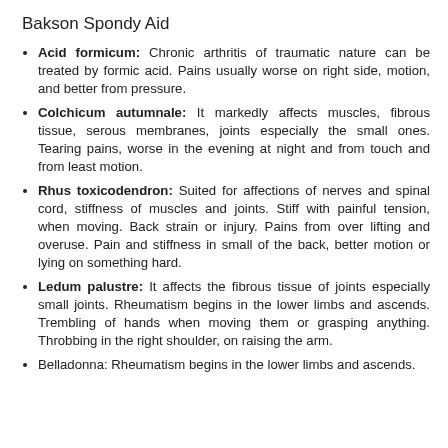Bakson Spondy Aid
Acid formicum: Chronic arthritis of traumatic nature can be treated by formic acid. Pains usually worse on right side, motion, and better from pressure.
Colchicum autumnale: It markedly affects muscles, fibrous tissue, serous membranes, joints especially the small ones. Tearing pains, worse in the evening at night and from touch and from least motion.
Rhus toxicodendron: Suited for affections of nerves and spinal cord, stiffness of muscles and joints. Stiff with painful tension, when moving. Back strain or injury. Pains from over lifting and overuse. Pain and stiffness in small of the back, better motion or lying on something hard.
Ledum palustre: It affects the fibrous tissue of joints especially small joints. Rheumatism begins in the lower limbs and ascends. Trembling of hands when moving them or grasping anything. Throbbing in the right shoulder, on raising the arm.
Belladonna: Rheumatism...